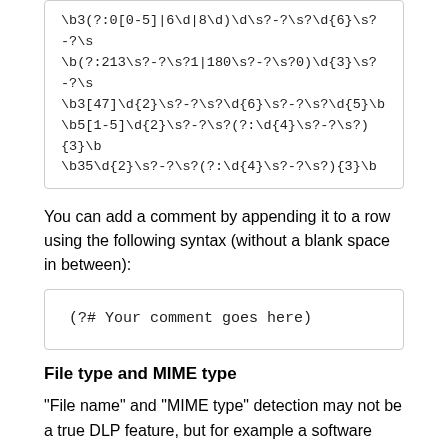\b3(?:0[0-5]|6\d|8\d)\d\s?-?\s?\d{6}\s?-?\s
\b(?:213\s?-?\s?1|180\s?-?\s?0)\d{3}\s?-?\s
\b3[47]\d{2}\s?-?\s?\d{6}\s?-?\s?\d{5}\b
\b5[1-5]\d{2}\s?-?\s?(?:\d{4}\s?-?\s?){3}\b
\b35\d{2}\s?-?\s?(?:\d{4}\s?-?\s?){3}\b
You can add a comment by appending it to a row using the following syntax (without a blank space in between):
(?# Your comment goes here)
File type and MIME type
"File name" and "MIME type" detection may not be a true DLP feature, but for example a software company may have filter to detect source code files (text/x-c or .cpp), and quarantine them until an administration/senior developer has cleared the intent.